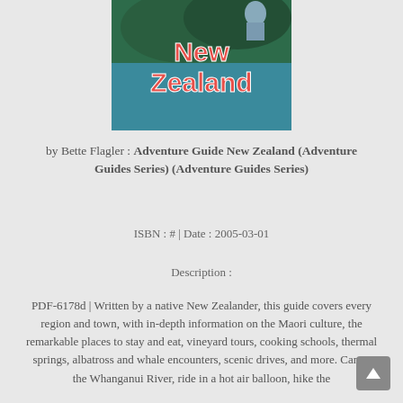[Figure (illustration): Book cover of 'New Zealand Adventure Guide' by Bette Flagler, showing text 'New Zealand' in large red/orange letters on a teal/blue background with foliage and a person visible.]
by Bette Flagler : Adventure Guide New Zealand (Adventure Guides Series) (Adventure Guides Series)
ISBN : # | Date : 2005-03-01
Description :
PDF-6178d | Written by a native New Zealander, this guide covers every region and town, with in-depth information on the Maori culture, the remarkable places to stay and eat, vineyard tours, cooking schools, thermal springs, albatross and whale encounters, scenic drives, and more. Canoe the Whanganui River, ride in a hot air balloon, hike the Waikaremoana Track, kayak the Whitianga, Forest Park, hike...